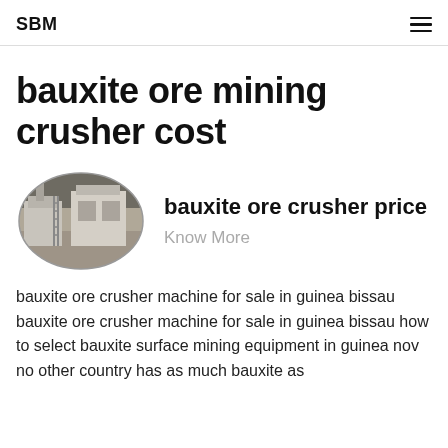SBM
bauxite ore mining crusher cost
[Figure (photo): Oval-framed industrial photo of large mining/crushing machinery inside a factory building]
bauxite ore crusher price
Know More
bauxite ore crusher machine for sale in guinea bissau bauxite ore crusher machine for sale in guinea bissau how to select bauxite surface mining equipment in guinea nov no other country has as much bauxite as